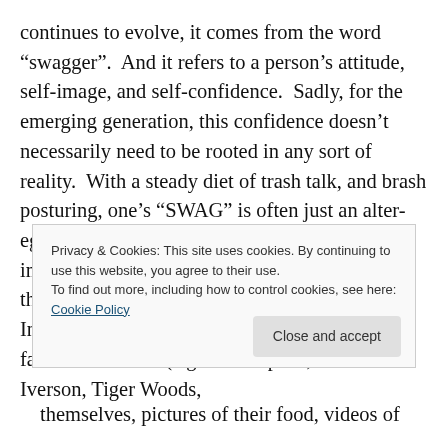continues to evolve, it comes from the word “swagger”.  And it refers to a person’s attitude, self-image, and self-confidence.  Sadly, for the emerging generation, this confidence doesn’t necessarily need to be rooted in any sort of reality.  With a steady diet of trash talk, and brash posturing, one’s “SWAG” is often just an alter-ego (i.e. the person they wish they were or imagine they will become), and ultimately how they choose to market themselves to the world.  In such cases, life has a way of reducing these facades to rubble (e.g. OJ Simpson, Allen Iverson, Tiger Woods,
Privacy & Cookies: This site uses cookies. By continuing to use this website, you agree to their use.
To find out more, including how to control cookies, see here: Cookie Policy
themselves, pictures of their food, videos of